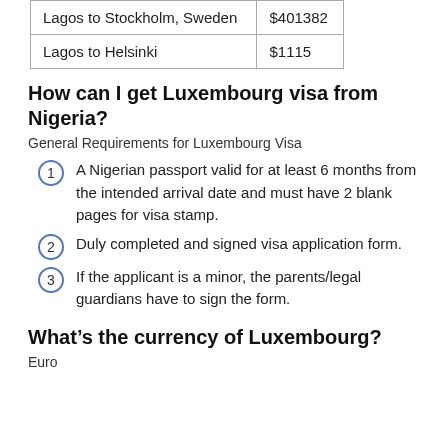| Lagos to Stockholm, Sweden | $401382 |
| Lagos to Helsinki | $1115 |
How can I get Luxembourg visa from Nigeria?
General Requirements for Luxembourg Visa
A Nigerian passport valid for at least 6 months from the intended arrival date and must have 2 blank pages for visa stamp.
Duly completed and signed visa application form.
If the applicant is a minor, the parents/legal guardians have to sign the form.
What's the currency of Luxembourg?
Euro